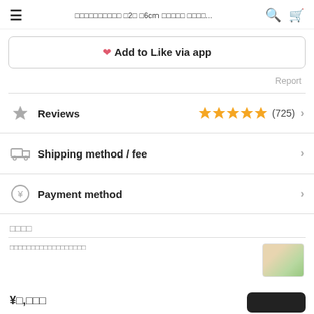☰  □□□□□□□□□□ □2□ □6cm □□□□□ □□□□...  🔍  🛒
♥ Add to Like via app
Report
Reviews  ★★★★★  (725)  >
Shipping method / fee  >
Payment method  >
□□□□
□□□□□□□□□□□□□□□□□□
¥□,□□□